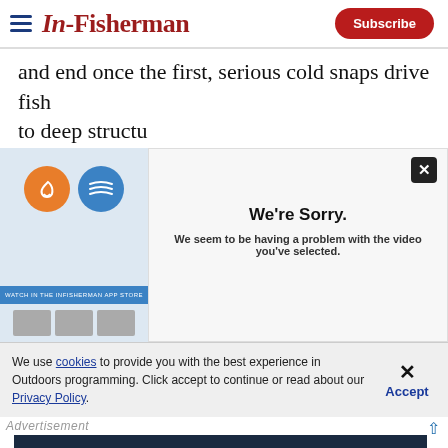In-Fisherman — Subscribe
and end once the first, serious cold snaps drive fish to deep structu…
[Figure (screenshot): Video player error overlay showing 'We're Sorry. We seem to be having a problem with the video you've selected.' with a close X button, alongside a video thumbnail with blue and orange circle icons]
We use cookies to provide you with the best experience in Outdoors programming. Click accept to continue or read about our Privacy Policy.
Advertisement
[Figure (other): Dark navy advertisement banner reading 'A LIFETIME OF RUGGED RELIABILITY' in bold italic white text]